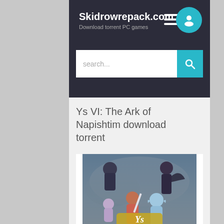Skidrowrepack.com – Download torrent PC games
Ys VI: The Ark of Napishtim download torrent
[Figure (illustration): Anime-style game cover art for Ys VI: The Ark of Napishtim featuring multiple fantasy anime characters including warriors and elf-like characters against a cloudy sky background, with the Ys logo visible at the bottom.]